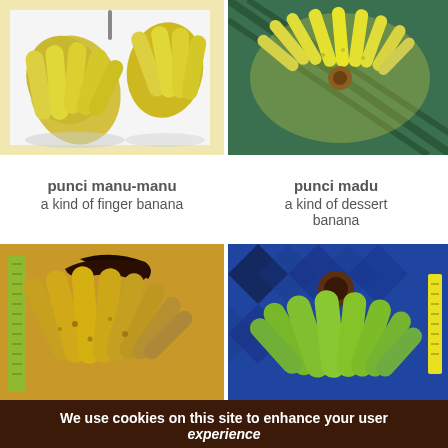[Figure (photo): Two bunches of yellow bananas hanging against a white background — punci manu-manu]
[Figure (photo): A fan of small yellow bananas with spots on a striped background — punci madu]
punci manu-manu
a kind of finger banana
punci madu
a kind of dessert banana
[Figure (photo): A bunch of yellowish-brown ripe bananas with dark stem — punci susu]
[Figure (photo): A bunch of green bananas on a patterned blue background — punci kacinga]
punci susu
punci kacinga
a kind of dessert banana, the skin is green
We use cookies on this site to enhance your user experience